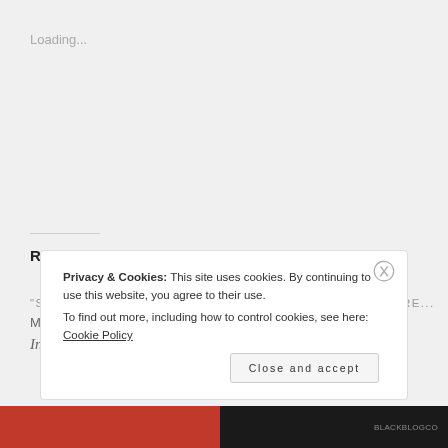Loading...
Related
"SYNCHRONICITY
March 14, 2013
In "Inspiration"
"LOOK DEEP INTO NATURE...
January 18, 2012
In "Ancient Aliens/Otherworldly Beings"
Privacy & Cookies: This site uses cookies. By continuing to use this website, you agree to their use.
To find out more, including how to control cookies, see here: Cookie Policy
Close and accept